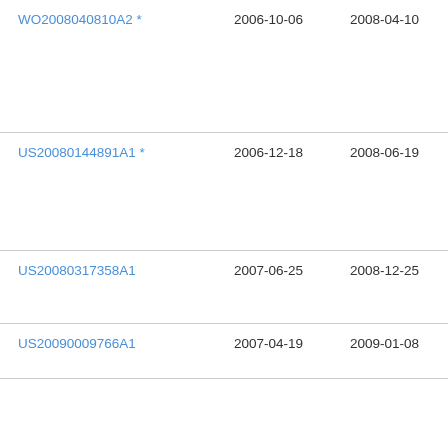| WO2008040810A2 * | 2006-10-06 | 2008-04-10 | OC PRI SY: GM |
| US20080144891A1 * | 2006-12-18 | 2008-06-19 | San Ele Co. |
| US20080317358A1 | 2007-06-25 | 2008-12-25 | Xer Cor |
| US20090009766A1 | 2007-04-19 | 2009-01-08 | Xer Cor |